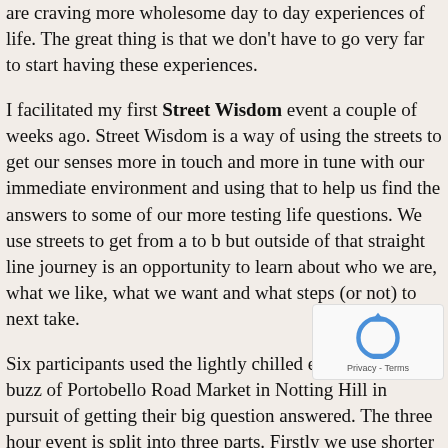are craving more wholesome day to day experiences of life. The great thing is that we don't have to go very far to start having these experiences.
I facilitated my first Street Wisdom event a couple of weeks ago. Street Wisdom is a way of using the streets to get our senses more in touch and more in tune with our immediate environment and using that to help us find the answers to some of our more testing life questions. We use streets to get from a to b but outside of that straight line journey is an opportunity to learn about who we are, what we like, what we want and what steps (or not) to next take.
Six participants used the lightly chilled early springtime buzz of Portobello Road Market in Notting Hill in pursuit of getting their big question answered. The three hour event is split into three parts. Firstly we use shorter walks to tune our senses into the streets. We use the simplicity of our senses in a different way and feed off the sounds, sights, colours and people to fuel a better understanding of ourselves. The second part is where we take that question we want answered and roam the streets for an hour in search of whatever
[Figure (other): reCAPTCHA logo overlay with Privacy - Terms text]